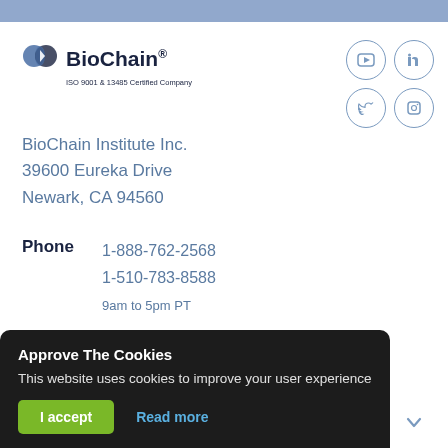[Figure (logo): BioChain logo with two overlapping circle icons and text 'BioChain®', subtitle 'ISO 9001 & 13485 Certified Company']
[Figure (illustration): Social media icons: YouTube, LinkedIn, Twitter, Facebook in circular outlines]
BioChain Institute Inc.
39600 Eureka Drive
Newark, CA 94560
| Phone | 1-888-762-2568 |
|  | 1-510-783-8588 |
|  | 9am to 5pm PT |
| Email | info@biochain.com |
|  | techsupport@biochain.com |
Approve The Cookies
This website uses cookies to improve your user experience
I accept   Read more